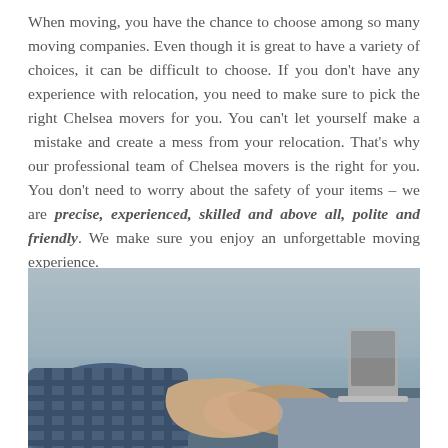When moving, you have the chance to choose among so many moving companies. Even though it is great to have a variety of choices, it can be difficult to choose. If you don't have any experience with relocation, you need to make sure to pick the right Chelsea movers for you. You can't let yourself make a mistake and create a mess from your relocation. That's why our professional team of Chelsea movers is the right for you. You don't need to worry about the safety of your items – we are precise, experienced, skilled and above all, polite and friendly. We make sure you enjoy an unforgettable moving experience.
[Figure (photo): Two people shaking hands, one wearing a blue checkered shirt, photographed in an office environment. Close-up handshake image.]